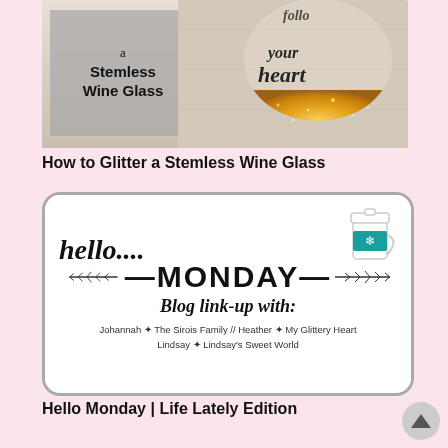[Figure (photo): Photo of a stemless wine glass with gold glitter on the bottom half and cursive text reading 'follow your heart'. A gray label overlay on the left reads 'a Stemless Wine Glass']
How to Glitter a Stemless Wine Glass
[Figure (illustration): Hello Monday Blog Link-up graphic with cursive 'hello...' text, large bold 'MONDAY' with decorative branches on each side, a coffee cup illustration in the top right, 'Blog link-up with:' in bold italic, and names: Johannah * The Sirois Family // Heather * My Glittery Heart / Lindsay * Lindsay's Sweet World]
Hello Monday | Life Lately Edition